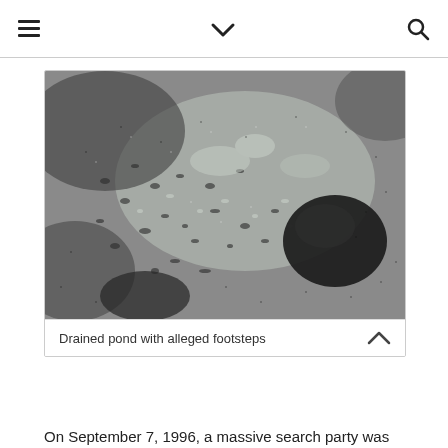≡  ∨  🔍
[Figure (photo): Grainy black and white photograph of a drained pond showing muddy ground with scattered debris and alleged footsteps visible in the sediment. A large dark rounded rock or object is visible on the right side.]
Drained pond with alleged footsteps
On September 7, 1996, a massive search party was